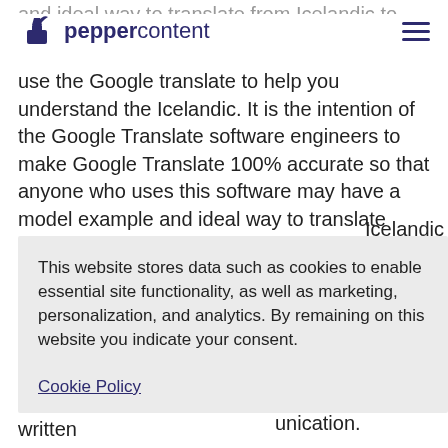peppercontent
use the Google translate to help you understand the Icelandic. It is the intention of the Google Translate software engineers to make Google Translate 100% accurate so that anyone who uses this software may have a model example and ideal way to translate from Icelandic to Icelandic
This website stores data such as cookies to enable essential site functionality, as well as marketing, personalization, and analytics. By remaining on this website you indicate your consent.
Cookie Policy
ld who ent people nguage. languages o learn unication.
Our translation app allows users to convert written